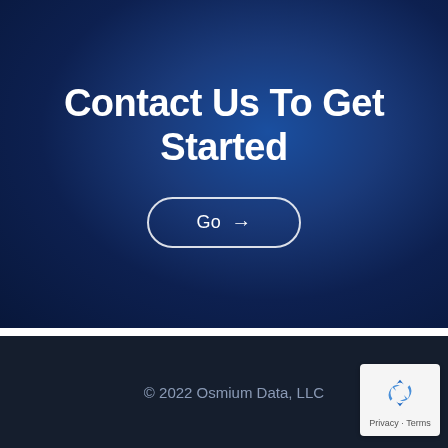Contact Us To Get Started
Go →
© 2022 Osmium Data, LLC
[Figure (logo): reCAPTCHA badge with recycling-style arrows icon and 'Privacy - Terms' text]